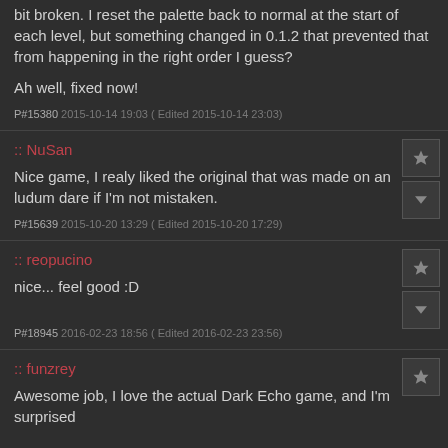bit broken. I reset the palette back to normal at the start of each level, but something changed in 0.1.2 that prevented that from happening in the right order I guess?
Ah well, fixed now!
P#15380 2015-10-14 19:03 ( Edited 2015-10-14 23:03)
:: NuSan
Nice game, I realy liked the original that was made on an ludum dare if I'm not mistaken.
P#15639 2015-10-20 13:29 ( Edited 2015-10-20 17:29)
:: reopucino
nice... feel good :D
P#18945 2016-02-23 18:56 ( Edited 2016-02-23 23:56)
:: funzrey
Awesome job, I love the actual Dark Echo game, and I'm surprised